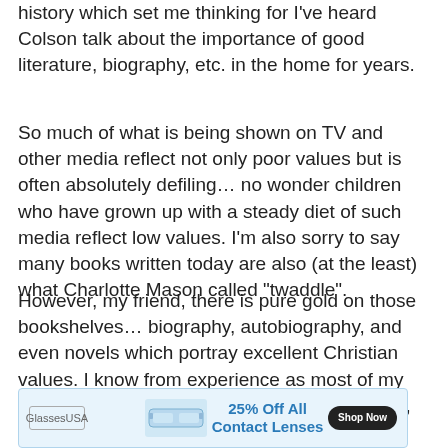history which set me thinking for I've heard Colson talk about the importance of good literature, biography, etc. in the home for years.
So much of what is being shown on TV and other media reflect not only poor values but is often absolutely defiling... no wonder children who have grown up with a steady diet of such media reflect low values. I'm also sorry to say many books written today are also (at the least) what Charlotte Mason called “twaddle”.
However, my friend, there is pure gold on those bookshelves... biography, autobiography, and even novels which portray excellent Christian values. I know from experience as most of my mentors have taught me from the written word, some living centuries before I was born.
[Figure (screenshot): Advertisement banner for GlassesUSA showing contact lens products with text '25% Off All Contact Lenses' and a 'Shop Now' button]